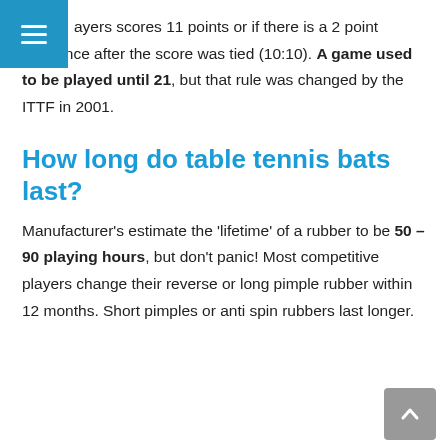ayers scores 11 points or if there is a 2 point difference after the score was tied (10:10). A game used to be played until 21, but that rule was changed by the ITTF in 2001.
How long do table tennis bats last?
Manufacturer's estimate the 'lifetime' of a rubber to be 50 – 90 playing hours, but don't panic! Most competitive players change their reverse or long pimple rubber within 12 months. Short pimples or anti spin rubbers last longer.